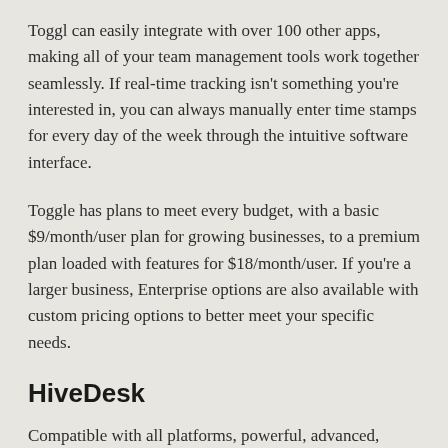Toggl can easily integrate with over 100 other apps, making all of your team management tools work together seamlessly. If real-time tracking isn't something you're interested in, you can always manually enter time stamps for every day of the week through the intuitive software interface.
Toggle has plans to meet every budget, with a basic $9/month/user plan for growing businesses, to a premium plan loaded with features for $18/month/user. If you're a larger business, Enterprise options are also available with custom pricing options to better meet your specific needs.
HiveDesk
Compatible with all platforms, powerful, advanced,